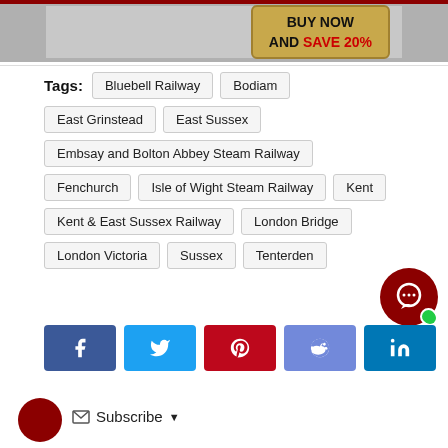[Figure (photo): Banner advertisement with railway imagery and 'BUY NOW AND SAVE 20%' text on golden background]
Tags: Bluebell Railway   Bodiam   East Grinstead   East Sussex   Embsay and Bolton Abbey Steam Railway   Fenchurch   Isle of Wight Steam Railway   Kent   Kent & East Sussex Railway   London Bridge   London Victoria   Sussex   Tenterden
[Figure (illustration): Social share buttons: Facebook, Twitter, Pinterest, Reddit, LinkedIn]
[Figure (other): Chat bubble icon with green online indicator]
[Figure (other): Notification bell icon with badge showing 1]
Subscribe